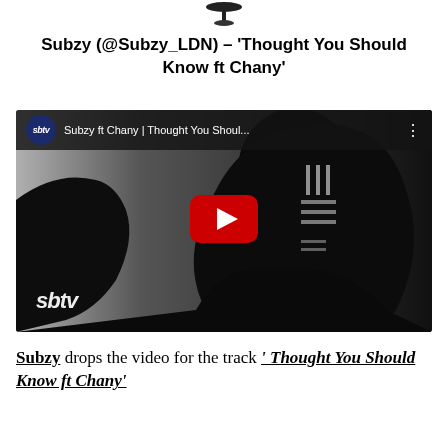[Figure (logo): Small circular/disc shaped logo at top center of page]
Subzy (@Subzy_LDN) – ‘Thought You Should Know ft Chany’
[Figure (screenshot): YouTube video embed showing SBTV - Subzy ft Chany | Thought You Shoul... with play button overlay, dark silhouette of a person bowing head, SBTV watermark logo at bottom left]
Subzy drops the video for the track ‘ Thought You Should Know ft Chany’